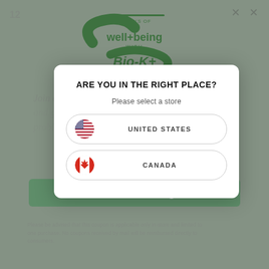[Figure (screenshot): Background webpage showing '12 Days of Well+Being with Bio-K+' promotional page, dimmed behind a modal overlay]
ARE YOU IN THE RIGHT PLACE?
Please select a store
UNITED STATES
CANADA
Join the challenge
Please be advised that this coupon is applicable only in-store and limited to one purchase. No coupons received by mail will be reimbursed directly to consumers.